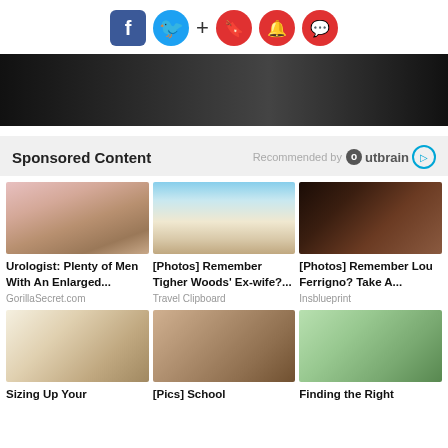Social icons: Facebook, Twitter, +, bookmark, bell, chat
[Figure (photo): Dark banner/advertisement area]
Sponsored Content — Recommended by Outbrain
[Figure (photo): Urologist: Plenty of Men With An Enlarged... — GorillaSecret.com]
[Figure (photo): [Photos] Remember Tigher Woods' Ex-wife?... — Travel Clipboard]
[Figure (photo): [Photos] Remember Lou Ferrigno? Take A... — Insblueprint]
[Figure (photo): Sizing Up Your — card 4]
[Figure (photo): [Pics] School — card 5]
[Figure (photo): Finding the Right — card 6]